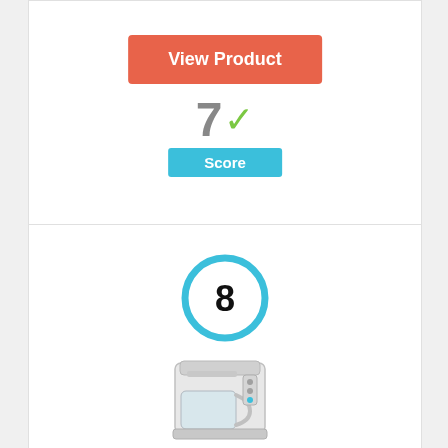[Figure (other): Orange 'View Product' button]
[Figure (infographic): Score display showing '7' with green checkmark and blue 'Score' label button]
[Figure (infographic): Rank circle with number 8 inside a thick blue ring]
[Figure (photo): Silver/white drip coffee maker appliance photo]